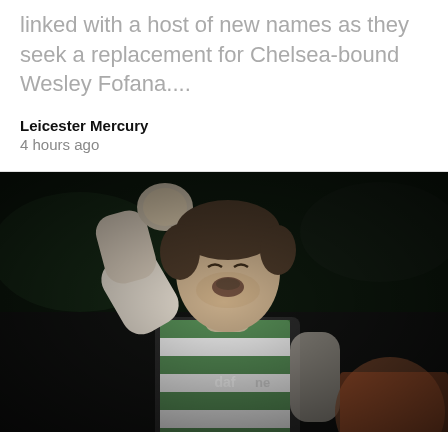linked with a host of new names as they seek a replacement for Chelsea-bound Wesley Fofana....
Leicester Mercury
4 hours ago
[Figure (photo): A footballer wearing a green and white hooped Celtic jersey with 'daf' sponsor, pumping his fist in celebration. Another player visible in bottom right corner.]
Man United, Arsenal,